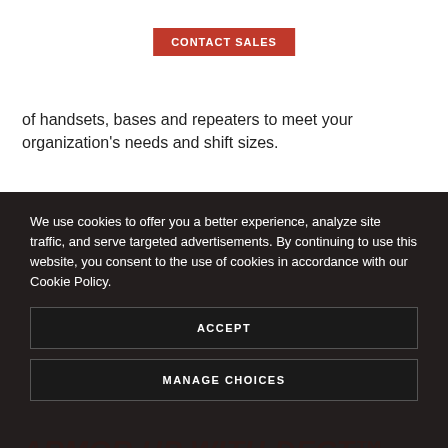[Figure (other): Orange 'CONTACT SALES' button]
of handsets, bases and repeaters to meet your organization's needs and shift sizes.
We use cookies to offer you a better experience, analyze site traffic, and serve targeted advertisements. By continuing to use this website, you consent to the use of cookies in accordance with our Cookie Policy.
ARMOR UP WITH DECT™ S...
GU...
Conversations are safe and secure with DECT™ wireless